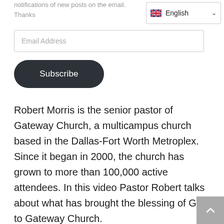notifications of new posts on the email. Thanks
[Figure (other): English language selector dropdown with UK flag]
Email Address (input field placeholder)
Subscribe (button)
Robert Morris is the senior pastor of Gateway Church, a multicampus church based in the Dallas-Fort Worth Metroplex. Since it began in 2000, the church has grown to more than 100,000 active attendees. In this video Pastor Robert talks about what has brought the blessing of God to Gateway Church.